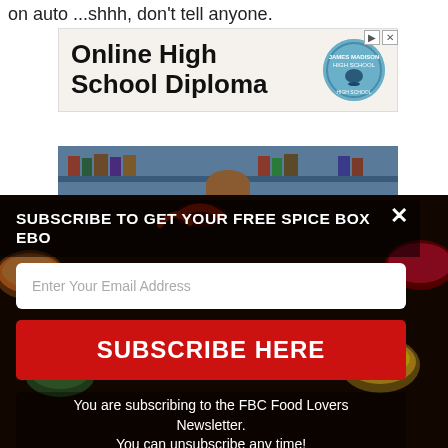on auto ...shhh, don't tell anyone.
[Figure (screenshot): Advertisement banner for Online High School Diploma with a circular school logo on a beige background]
[Figure (photo): Photo of a person partially hidden behind books on a shelf]
[Figure (screenshot): Email subscription popup overlay with spice-themed background, email input field, subscribe button, and disclaimer text]
SUBSCRIBE TO GET YOUR FREE SPICE BOX EBO
Enter Your Email Address
SUBSCRIBE HERE
You are subscribing to the FBC Food Lovers Newsletter.
You can unsubscribe any time!